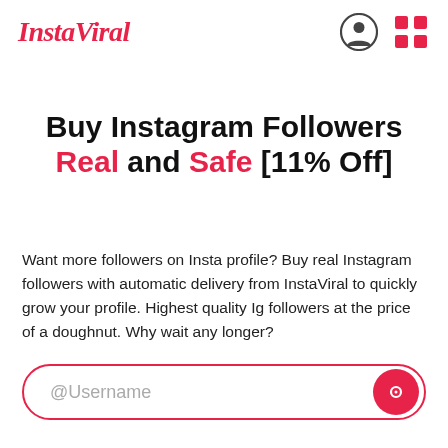[Figure (logo): InstaViral logo in red italic serif font, top left]
[Figure (illustration): Profile icon (circle with person silhouette) and grid/menu icon, top right header area]
Buy Instagram Followers Real and Safe [11% Off]
Want more followers on Insta profile? Buy real Instagram followers with automatic delivery from InstaViral to quickly grow your profile. Highest quality Ig followers at the price of a doughnut. Why wait any longer?
[Figure (other): Input field with @Username placeholder text and a red circular chat/send button on the right, pill-shaped with red border]